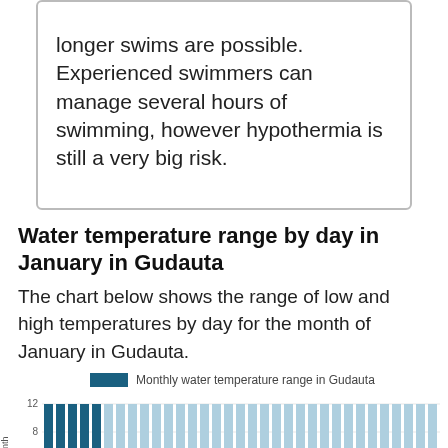longer swims are possible. Experienced swimmers can manage several hours of swimming, however hypothermia is still a very big risk.
Water temperature range by day in January in Gudauta
The chart below shows the range of low and high temperatures by day for the month of January in Gudauta.
[Figure (bar-chart): Monthly water temperature range in Gudauta]